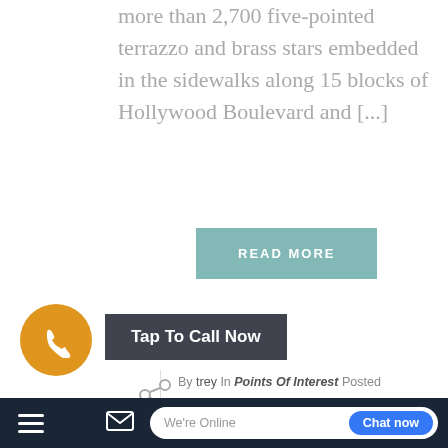more than 2,700 five-pointed terrazzo and brass stars embedded in the sidewalks along 15 blocks of Hollywood Boulevard and [...]
READ MORE
By trey In Points Of Interest Posted December 9, 2021
RODEO DRIVE
two-mile-long street in Beverly Hills, California, with its
Tap To Call Now
We're Online
Chat now